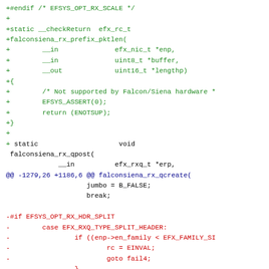[Figure (screenshot): A code diff snippet showing C source code changes. Green lines are additions (prefixed with +), red lines are deletions (prefixed with -), blue line is a diff hunk header (@@). Black lines are context lines without prefix. The code involves falconsiena_rx functions in a network driver.]